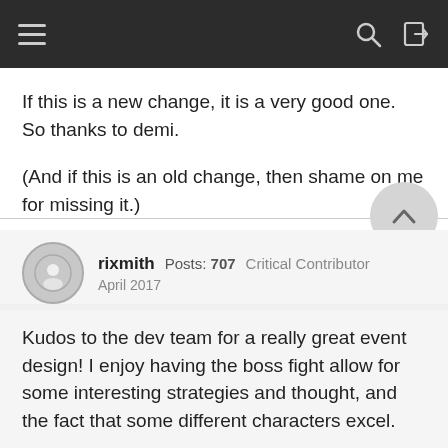Navigation bar with hamburger menu, search, and login icons
If this is a new change, it is a very good one.  So thanks to demi.
(And if this is an old change, then shame on me for missing it.)
rixmith  Posts: 707  Critical Contributor  April 2017
Kudos to the dev team for a really great event design! I enjoy having the boss fight allow for some interesting strategies and thought, and the fact that some different characters excel.
In previous boss events I always found myself trying